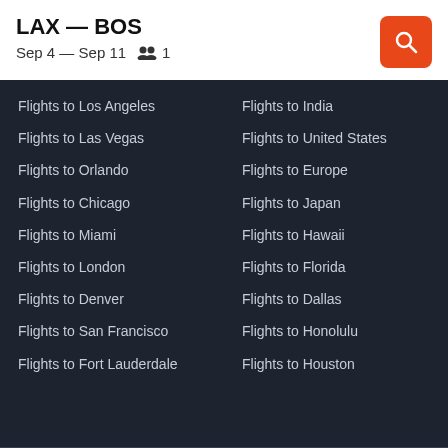LAX — BOS
Sep 4 — Sep 11   👥 1
Flights to Los Angeles
Flights to Las Vegas
Flights to Orlando
Flights to Chicago
Flights to Miami
Flights to London
Flights to Denver
Flights to San Francisco
Flights to Fort Lauderdale
Flights to Washington, D.C.
Flights to Seattle
Flights to Boston
Flights to Atlanta
Flights to India
Flights to United States
Flights to Europe
Flights to Japan
Flights to Hawaii
Flights to Florida
Flights to Dallas
Flights to Honolulu
Flights to Houston
Flights to Portland
Flights to Oakland
Flights to White Plains